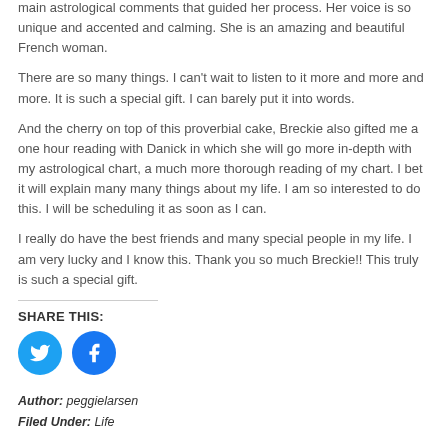main astrological comments that guided her process. Her voice is so unique and accented and calming. She is an amazing and beautiful French woman.
There are so many things. I can't wait to listen to it more and more and more. It is such a special gift. I can barely put it into words.
And the cherry on top of this proverbial cake, Breckie also gifted me a one hour reading with Danick in which she will go more in-depth with my astrological chart, a much more thorough reading of my chart. I bet it will explain many many things about my life. I am so interested to do this. I will be scheduling it as soon as I can.
I really do have the best friends and many special people in my life. I am very lucky and I know this. Thank you so much Breckie!! This truly is such a special gift.
SHARE THIS:
[Figure (illustration): Twitter and Facebook social share icon buttons (circular blue icons)]
Author: peggielarsen
Filed Under: Life